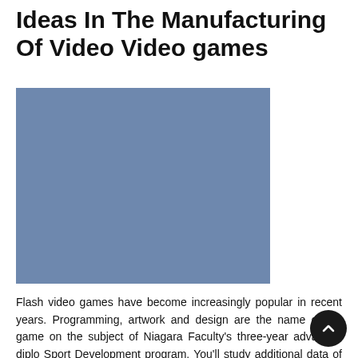Ideas In The Manufacturing Of Video Video games
[Figure (illustration): A solid blue-grey rectangle placeholder image]
Flash video games have become increasingly popular in recent years. Programming, artwork and design are the name of the game on the subject of Niagara Faculty's three-year advanced diploma Sport Development program. You'll study additional data of the